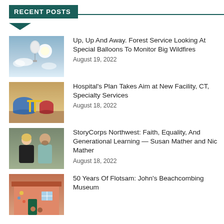RECENT POSTS
[Figure (photo): Weather balloon in sky with bright sun]
Up, Up And Away. Forest Service Looking At Special Balloons To Monitor Big Wildfires
August 19, 2022
[Figure (photo): Industrial tanks and yellow pipes outdoors]
Hospital's Plan Takes Aim at New Facility, CT, Specialty Services
August 18, 2022
[Figure (photo): Woman and man posing together outdoors]
StoryCorps Northwest: Faith, Equality, And Generational Learning — Susan Mather and Nic Mather
August 18, 2022
[Figure (photo): Beachcombing museum exterior with decorations]
50 Years Of Flotsam: John's Beachcombing Museum